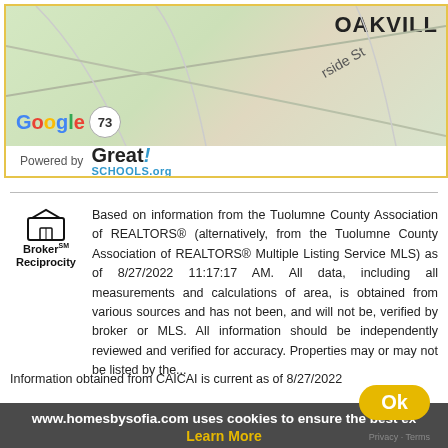[Figure (map): Google Maps partial view showing Oakville area with road labels and a circle marker labeled 73]
[Figure (logo): GreatSchools.org logo with 'Powered by' text]
Based on information from the Tuolumne County Association of REALTORS® (alternatively, from the Tuolumne County Association of REALTORS® Multiple Listing Service MLS) as of 8/27/2022 11:17:17 AM. All data, including all measurements and calculations of area, is obtained from various sources and has not been, and will not be, verified by broker or MLS. All information should be independently reviewed and verified for accuracy. Properties may or may not be listed by the...
Information obtained from CAICAI is current as of 8/27/2022
www.homesbysofia.com uses cookies to ensure the best ex
Learn More
Ok